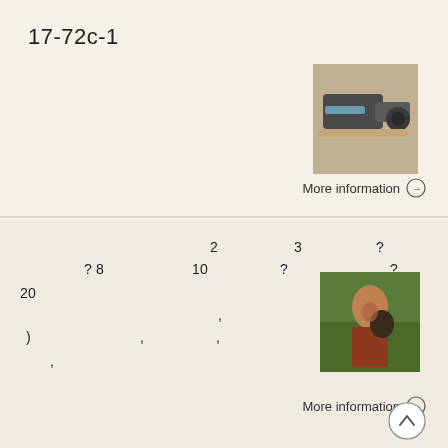17-72c-1
[Figure (photo): Small photo of power tools on a wooden surface]
More information →
2  3  ?
?8  10  ?  ?
20        (  )
               (
)       ,   ,               ,
   ,
[Figure (photo): Photo of a person holding an animal outdoors]
More information →